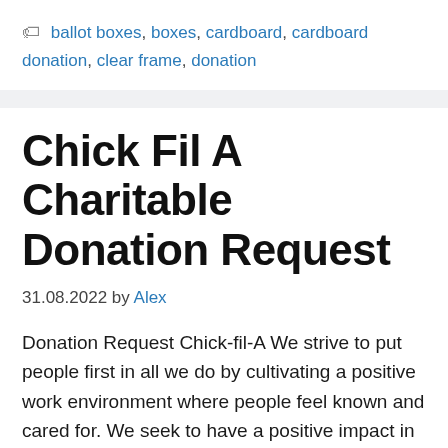ballot boxes, boxes, cardboard, cardboard donation, clear frame, donation
Chick Fil A Charitable Donation Request
31.08.2022 by Alex
Donation Request Chick-fil-A We strive to put people first in all we do by cultivating a positive work environment where people feel known and cared for. We seek to have a positive impact in our communities by strengthening the cities and neighborhoods